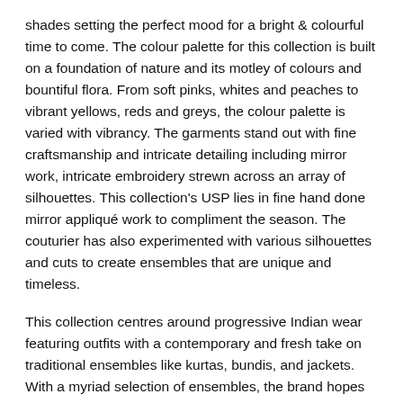shades setting the perfect mood for a bright & colourful time to come. The colour palette for this collection is built on a foundation of nature and its motley of colours and bountiful flora. From soft pinks, whites and peaches to vibrant yellows, reds and greys, the colour palette is varied with vibrancy. The garments stand out with fine craftsmanship and intricate detailing including mirror work, intricate embroidery strewn across an array of silhouettes. This collection's USP lies in fine hand done mirror appliqué work to compliment the season. The couturier has also experimented with various silhouettes and cuts to create ensembles that are unique and timeless.
This collection centres around progressive Indian wear featuring outfits with a contemporary and fresh take on traditional ensembles like kurtas, bundis, and jackets. With a myriad selection of ensembles, the brand hopes to bring forth a collection that has something for every individual.
Speaking about the launch of her latest labour of love, Couturier